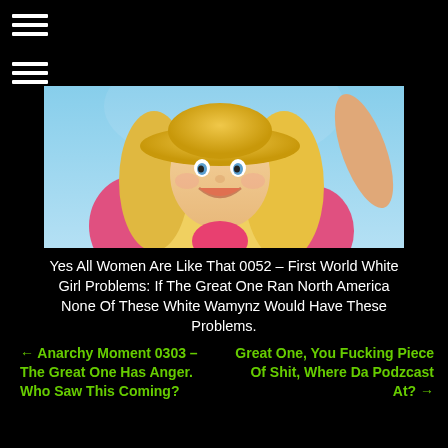[Figure (illustration): AI-generated illustration of a smiling blonde woman wearing a large yellow sun hat, posed against a blue sky background with pink clothing and raised arm]
Yes All Women Are Like That 0052 – First World White Girl Problems: If The Great One Ran North America None Of These White Wamynz Would Have These Problems.
← Anarchy Moment 0303 – The Great One Has Anger. Who Saw This Coming?
Great One, You Fucking Piece Of Shit, Where Da Podzcast At? →